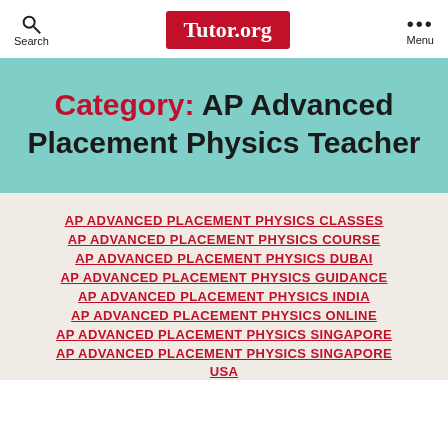Search | Tutor.org | Menu
Category: AP Advanced Placement Physics Teacher
AP ADVANCED PLACEMENT PHYSICS CLASSES
AP ADVANCED PLACEMENT PHYSICS COURSE
AP ADVANCED PLACEMENT PHYSICS DUBAI
AP ADVANCED PLACEMENT PHYSICS GUIDANCE
AP ADVANCED PLACEMENT PHYSICS INDIA
AP ADVANCED PLACEMENT PHYSICS ONLINE
AP ADVANCED PLACEMENT PHYSICS SINGAPORE
AP ADVANCED PLACEMENT PHYSICS SINGAPORE USA